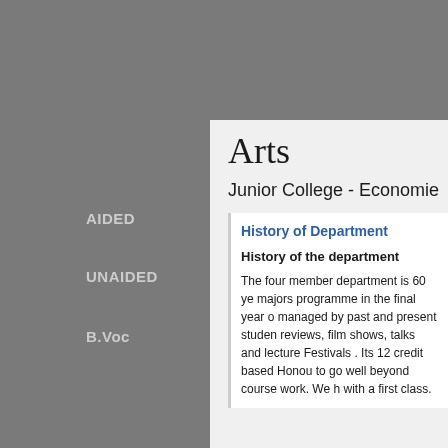AIDED
UNAIDED
B.Voc
Arts
Junior College - Economic
History of Department
History of the department
The four member department is 60 ye... majors programme in the final year o... managed by past and present studen... reviews, film shows, talks and lecture... Festivals . Its 12 credit based Honou... to go well beyond course work. We h... with a first class.